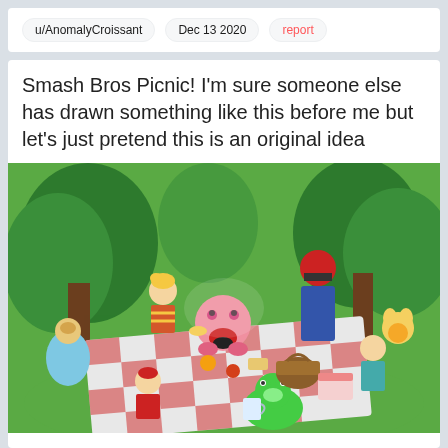u/AnomalyCroissant   Dec 13 2020   report
Smash Bros Picnic! I'm sure someone else has drawn something like this before me but let's just pretend this is an original idea
[Figure (illustration): Fan art illustration showing various Nintendo Smash Bros characters (Samus, Lucas, Kirby, Captain Falcon, Isabelle, Link, Yoshi, and others) having a picnic on a red-and-white checkered blanket in a green forest setting with food and a picnic basket.]